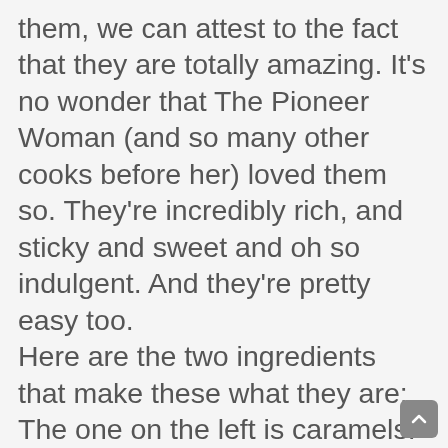them, we can attest to the fact that they are totally amazing. It's no wonder that The Pioneer Woman (and so many other cooks before her) loved them so. They're incredibly rich, and sticky and sweet and oh so indulgent. And they're pretty easy too. Here are the two ingredients that make these what they are: The one on the left is caramels. You'll want to unwrap about two bags of them, but if you happen to eat some during the unwrapping process, that's